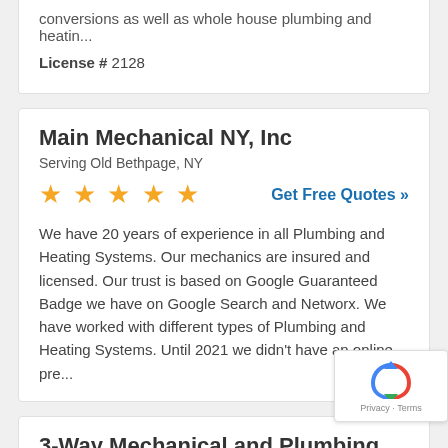conversions as well as whole house plumbing and heatin...
License # 2128
Main Mechanical NY, Inc
Serving Old Bethpage, NY
★★★★★
Get Free Quotes »
We have 20 years of experience in all Plumbing and Heating Systems. Our mechanics are insured and licensed. Our trust is based on Google Guaranteed Badge we have on Google Search and Networx. We have worked with different types of Plumbing and Heating Systems. Until 2021 we didn't have an online pre...
3-Way Mechanical and Plumbing
Serving Old Bethpage, NY